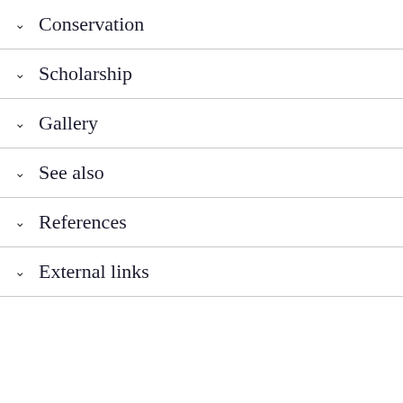Conservation
Scholarship
Gallery
See also
References
External links